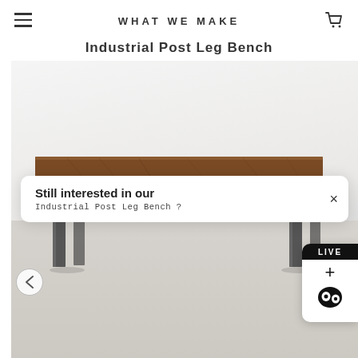WHAT WE MAKE
Industrial Post Leg Bench
[Figure (photo): Product photo of an industrial post leg bench with a walnut wood top and dark metal post legs, displayed against a light gray/white background.]
Still interested in our
Industrial Post Leg Bench ?